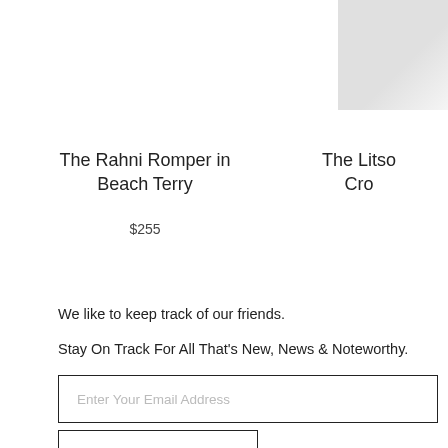[Figure (photo): Partial product image in top right corner, light grey/white item on white background]
The Rahni Romper in Beach Terry
$255
The Litso Cro
We like to keep track of our friends.
Stay On Track For All That's New, News & Noteworthy.
Enter Your Email Address
SUBSCRIBE